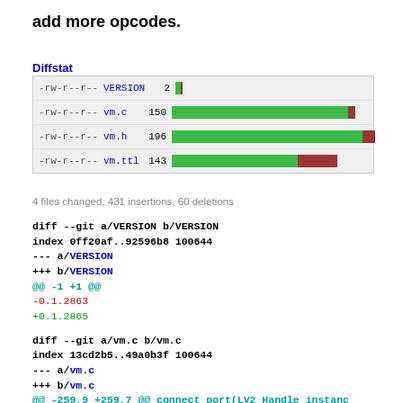add more opcodes.
Diffstat
[Figure (other): Diffstat table showing file changes: VERSION 2 lines (small bar), vm.c 150 lines (long green bar, small red), vm.h 196 lines (long green bar, small red), vm.ttl 143 lines (medium green bar, larger red bar)]
4 files changed, 431 insertions, 60 deletions
diff --git a/VERSION b/VERSION
index 0ff20af..92596b8 100644
--- a/VERSION
+++ b/VERSION
@@ -1 +1 @@
-0.1.2863
+0.1.2865

diff --git a/vm.c b/vm.c
index 13cd2b5..49a0b3f 100644
--- a/vm.c
+++ b/vm.c
@@ -259,9 +259,7 @@ connect_port(LV2_Handle instanc
        }
 }

 #define MIN(a, b)  (a+b?a+b)